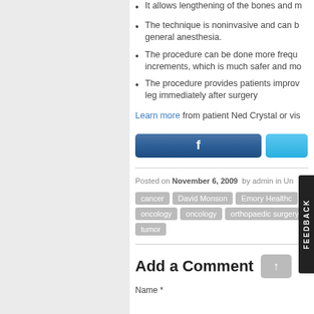It allows lengthening of the bones and m...
The technique is noninvasive and can b... general anesthesia.
The procedure can be done more frequ... increments, which is much safer and mo...
The procedure provides patients improv... leg immediately after surgery
Learn more from patient Ned Crystal or vis...
[Figure (other): Facebook share button and Twitter share button]
Posted on November 6, 2009 by admin in Un...
Tags: cancer, David Monson, Emory Healthc..., oncology, oncology, orthopaedic surgery, tumor
Add a Comment
Name *